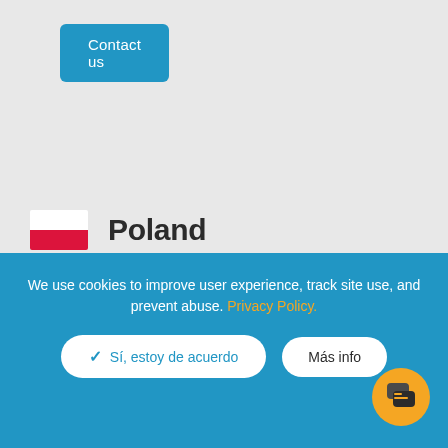Contact us
[Figure (illustration): Polish flag icon — white top half, red bottom half]
Poland
ITA Polska
ul. Poznańska 104
Skórzewo
60-166 Poznań
Poland
Tel: +48 6...
We use cookies to improve user experience, track site use, and prevent abuse. Privacy Policy.
Sí, estoy de acuerdo
Más info